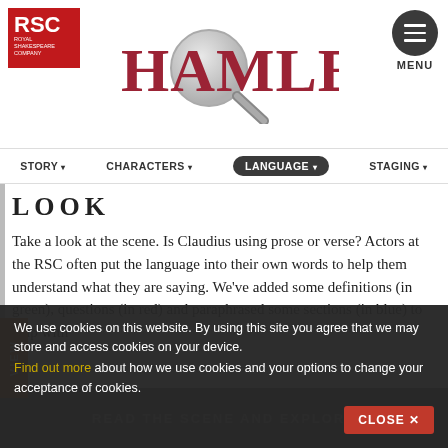[Figure (logo): RSC Royal Shakespeare Company red logo in top left]
HAMLET
[Figure (logo): Hamburger menu button (three lines in dark circle) with MENU label, top right]
STORY▾   CHARACTERS▾   LANGUAGE▾   STAGING▾
LOOK
Take a look at the scene. Is Claudius using prose or verse? Actors at the RSC often put the language into their own words to help them understand what they are saying. We've added some definitions (in green), questions (in red) and paraphrased some sections (in blue) to help with
We use cookies on this website. By using this site you agree that we may store and access cookies on your device. Find out more about how we use cookies and your options to change your acceptance of cookies.
READ THE SCENE AND EXPLORE
CLOSE ✕